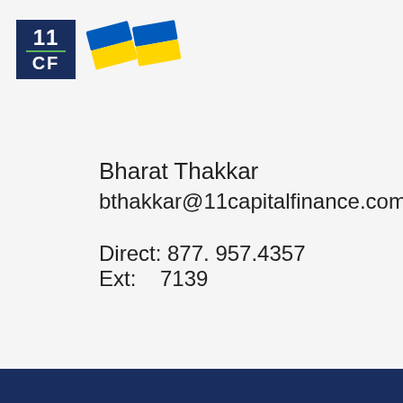[Figure (logo): 11 CF logo — dark navy blue square with '11' on top, a green horizontal line, and 'CF' below in white text]
[Figure (illustration): Two Ukrainian flag emoji icons (blue and yellow) side by side]
Bharat Thakkar
bthakkar@11capitalfinance.com

Direct: 877. 957.4357 Ext:    7139